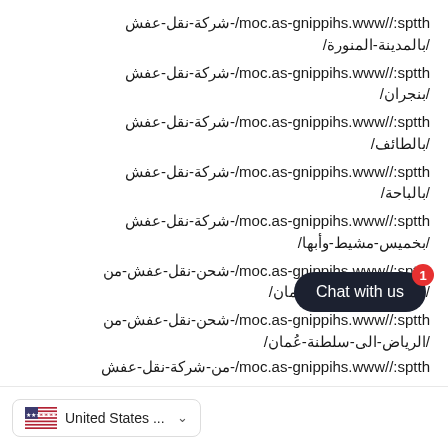https://www.shipping-sa.com/-شركة-نقل-عفش/بالمدينة-المنورة/
https://www.shipping-sa.com/-شركة-نقل-عفش/بنجران/
https://www.shipping-sa.com/-شركة-نقل-عفش/بالطائف/
https://www.shipping-sa.com/-شركة-نقل-عفش/بالباحة/
https://www.shipping-sa.com/-شركة-نقل-عفش/بخميس-مشيط-وأبها/
https://www.shipping-sa.com/-شحن-نقل-عفش-من/الدمام-الى-سلطنة-عُمان/
https://www.shipping-sa.com/-شحن-نقل-عفش-من/الرياض-الى-سلطنة-عُمان/
https://www.shipping-sa.com/-من-شركة-نقل-عفش/
Chat with us
United States ...